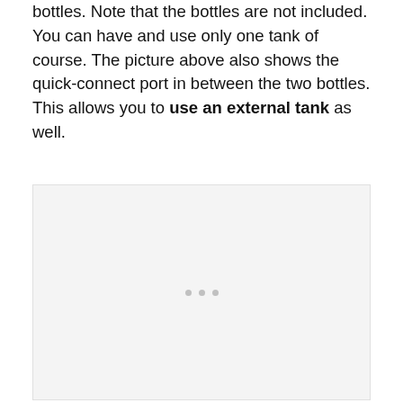bottles. Note that the bottles are not included. You can have and use only one tank of course. The picture above also shows the quick-connect port in between the two bottles. This allows you to use an external tank as well.
[Figure (photo): A mostly blank/light gray image placeholder with three small gray dots centered near the middle-lower area, representing a photo of an external tank or bottles setup.]